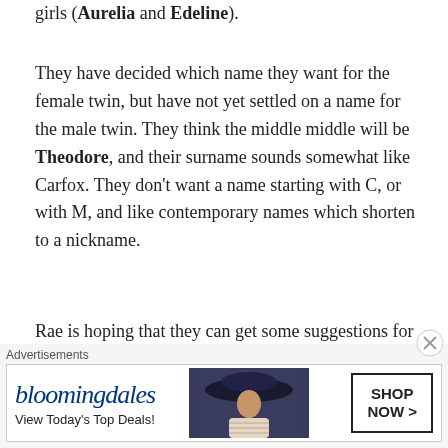girls (Aurelia and Edeline).
They have decided which name they want for the female twin, but have not yet settled on a name for the male twin. They think the middle middle will be Theodore, and their surname sounds somewhat like Carfox. They don't want a name starting with C, or with M, and like contemporary names which shorten to a nickname.
Rae is hoping that they can get some suggestions for a boys' name.
* * * * * * * * * * *
Whew! Girl-boy twins: big news, but a lot to take on
Advertisements
[Figure (other): Bloomingdale's advertisement banner with logo, 'View Today's Top Deals!' tagline, woman with hat image, and 'SHOP NOW >' button]